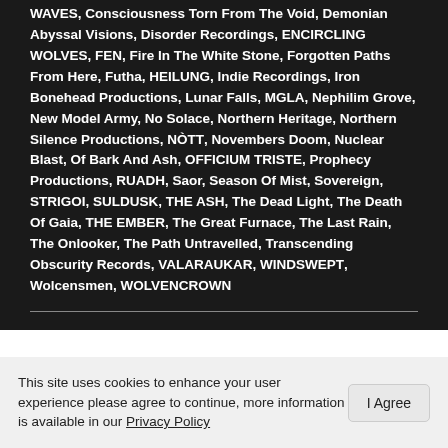WAVES, Consciousness Torn From The Void, Demonian Abyssal Visions, Disorder Recordings, ENCIRCLING WOLVES, FEN, Fire In The White Stone, Forgotten Paths From Here, Futha, HEILUNG, Indie Recordings, Iron Bonehead Productions, Lunar Falls, MGLA, Nephilim Grove, New Model Army, No Solace, Northern Heritage, Northern Silence Productions, NÒTT, Novembers Doom, Nuclear Blast, Of Bark And Ash, OFFICIUM TRISTE, Prophecy Productions, RUADH, Saor, Season Of Mist, Sovereign, STRIGOI, SULDUSK, THE ASH, The Dead Light, The Death Of Gaia, THE EMBER, The Great Furnace, The Last Rain, The Onlooker, The Path Untravelled, Transcending Obscurity Records, VALARAUKAR, WINDSWEPT, Wolcensmen, WOLVENCROWN
The TMA Top Ten Festival Essential Items
This site uses cookies to enhance your user experience please agree to continue, more information is available in our Privacy Policy